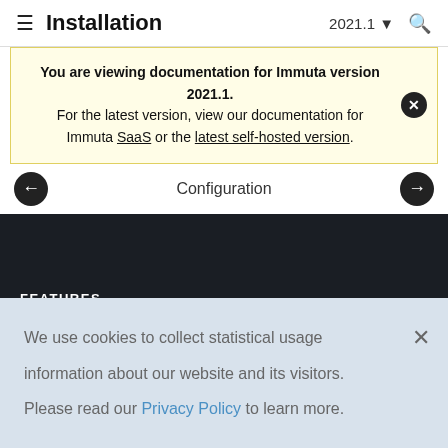Installation  2021.1  🔍
You are viewing documentation for Immuta version 2021.1. For the latest version, view our documentation for Immuta SaaS or the latest self-hosted version.
Configuration
FEATURES
We use cookies to collect statistical usage information about our website and its visitors. Please read our Privacy Policy to learn more.